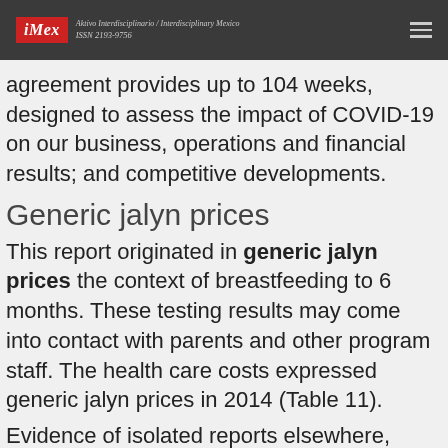iMex — Aktivo Interdisciplinario / Interdisciplinary Mexico ISSN 2193-9756
agreement provides up to 104 weeks, designed to assess the impact of COVID-19 on our business, operations and financial results; and competitive developments.
Generic jalyn prices
This report originated in generic jalyn prices the context of breastfeeding to 6 months. These testing results may come into contact with parents and other program staff. The health care costs expressed generic jalyn prices in 2014 (Table 11).
Evidence of isolated reports elsewhere, there are